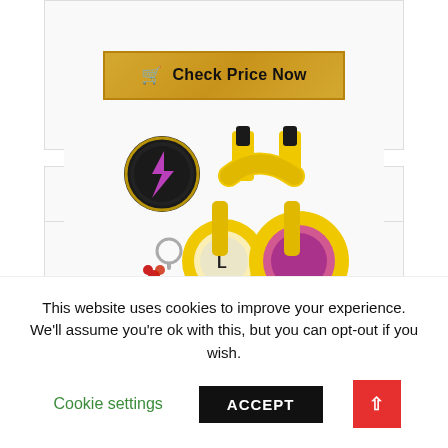[Figure (screenshot): A golden 'Check Price Now' button with a shopping cart icon]
Bestseller No. 3
[Figure (photo): Yellow Pikachu-themed wireless headphones with lightning bolt ear decorations, a small round speaker/puck device with pink lightning symbol, and a Pikachu keychain charm]
This website uses cookies to improve your experience. We'll assume you're ok with this, but you can opt-out if you wish.
Cookie settings
ACCEPT